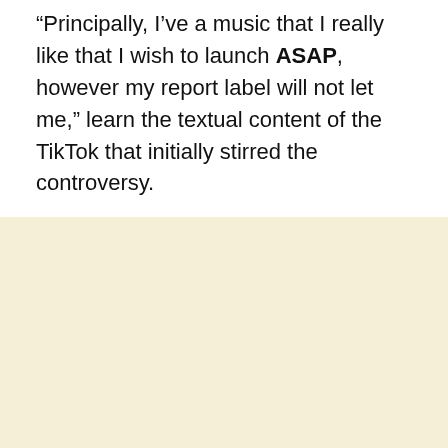"Principally, I've a music that I really like that I wish to launch ASAP, however my report label will not let me," learn the textual content of the TikTok that initially stirred the controversy.